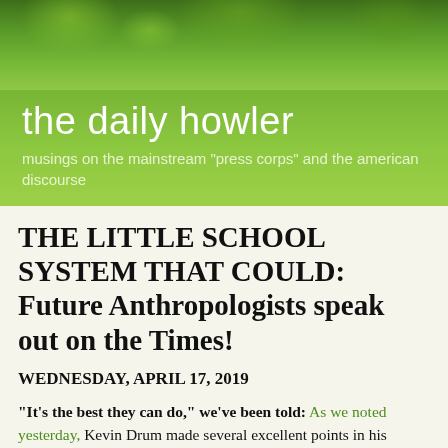[Figure (photo): Green leaves background image forming the top banner of the blog header]
the daily howler
musings on the mainstream "press corps" and the american discourse
THE LITTLE SCHOOL SYSTEM THAT COULD: Future Anthropologists speak out on the Times!
WEDNESDAY, APRIL 17, 2019
"It's the best they can do," we've been told: As we noted yesterday, Kevin Drum made several excellent points in his March 22 post.
Since such a thing is so rarely done, it's worth revisiting those points. That's especially true in the wake of the New York Times' recent revival of a long-standing press corps favorite tale. The